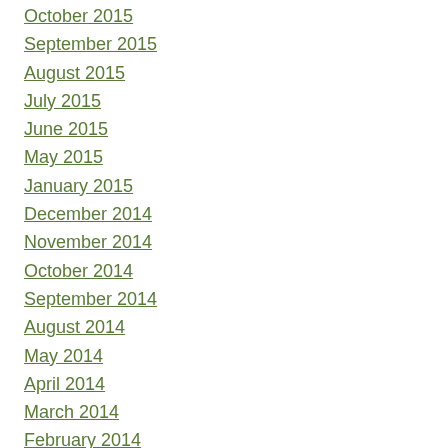October 2015
September 2015
August 2015
July 2015
June 2015
May 2015
January 2015
December 2014
November 2014
October 2014
September 2014
August 2014
May 2014
April 2014
March 2014
February 2014
January 2014
November 2013
October 2013